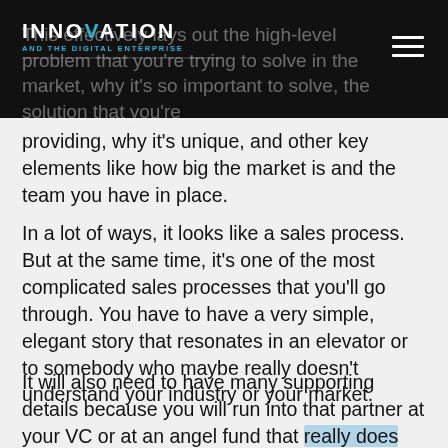Innovation and the Digital Enterprise — header bar with logo
This effectively lays out the high-level problem that you're trying to solve in the market, why it's so important to solve, the solution that you're providing, why it's unique, and other key elements like how big the market is and the team you have in place.
In a lot of ways, it looks like a sales process. But at the same time, it's one of the most complicated sales processes that you'll go through. You have to have a very simple, elegant story that resonates in an elevator or to somebody who maybe really doesn't understand your industry or your market.
It will also need to have many supporting details because you will run into that partner at your VC or at an angel fund that really does understand your market. You'll have to be able to peel back the